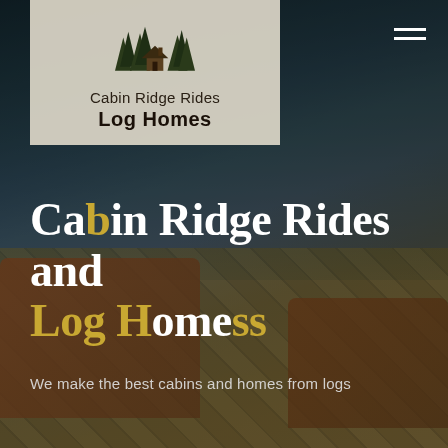[Figure (logo): Cabin Ridge Rides Log Homes logo with pine tree and cabin silhouette icon on light background]
Cabin Ridge Rides and Log Homes
We make the best cabins and homes from logs